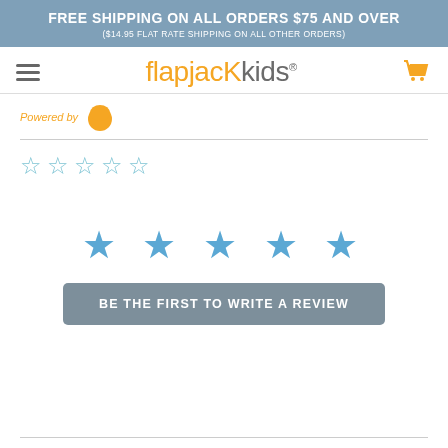FREE SHIPPING ON ALL ORDERS $75 AND OVER
($14.95 FLAT RATE SHIPPING ON ALL OTHER ORDERS)
[Figure (logo): FlapJack Kids logo with hamburger menu and shopping cart icon]
Powered by [logo]
[Figure (other): 5 empty/outline star rating icons in blue]
[Figure (other): 5 filled blue star rating icons (large)]
BE THE FIRST TO WRITE A REVIEW